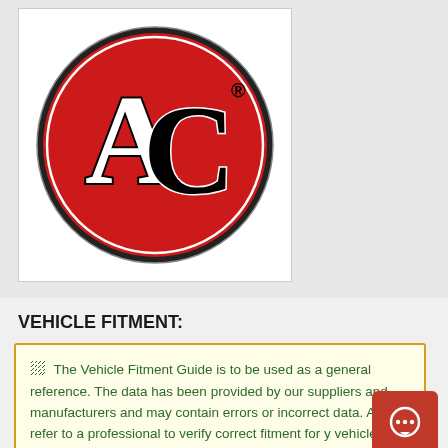[Figure (logo): ACC logo — red circle with black stylized letters A and C, registered trademark symbol, black and white border detail]
VEHICLE FITMENT:
The Vehicle Fitment Guide is to be used as a general reference. The data has been provided by our suppliers and manufacturers and may contain errors or incorrect data. Always refer to a professional to verify correct fitment for your vehicle.